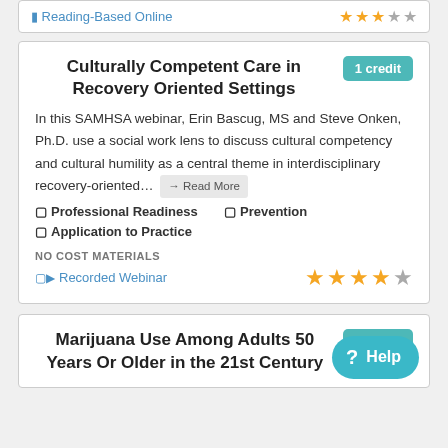Reading-Based Online
Culturally Competent Care in Recovery Oriented Settings
1 credit
In this SAMHSA webinar, Erin Bascug, MS and Steve Onken, Ph.D. use a social work lens to discuss cultural competency and cultural humility as a central theme in interdisciplinary recovery-oriented... → Read More
Professional Readiness
Prevention
Application to Practice
NO COST MATERIALS
Recorded Webinar
[Figure (other): 4 filled gold stars and 1 half/empty star rating]
Marijuana Use Among Adults 50 Years Or Older in the 21st Century
1 credit